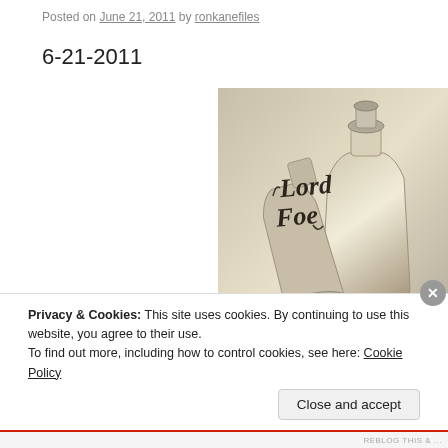Posted on June 21, 2011 by ronkanefiles
6-21-2011
[Figure (illustration): Album cover artwork for 'Lord Foe' showing bottles and chess pieces in a monochromatic sepia/grey pencil or painting style. Cursive text reads 'Lord Foe' in the upper portion of the image.]
Privacy & Cookies: This site uses cookies. By continuing to use this website, you agree to their use.
To find out more, including how to control cookies, see here: Cookie Policy
Close and accept